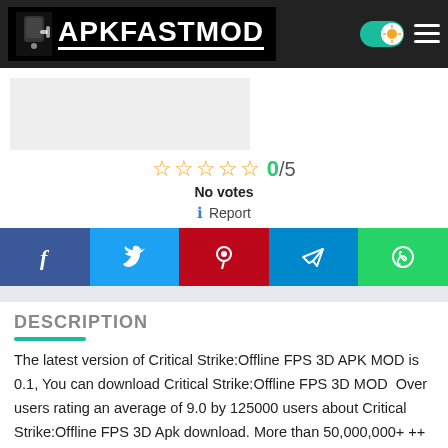[Figure (logo): APKFASTMOD logo on black background with robot/phone icon]
[Figure (other): Light grey image placeholder rectangle]
☆☆☆☆☆ 0/5
No votes
ℹ Report
[Figure (other): Social sharing buttons: Facebook, Twitter, Pinterest, Telegram, WhatsApp]
DESCRIPTION
The latest version of Critical Strike:Offline FPS 3D APK MOD is 0.1, You can download Critical Strike:Offline FPS 3D MOD  Over users rating an average of 9.0 by 125000 users about Critical Strike:Offline FPS 3D Apk download. More than 50,000,000+ ++ is playing this app/game right now